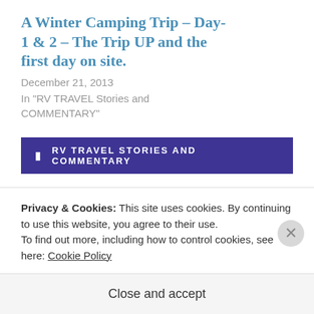A Winter Camping Trip – Day-1 & 2 – The Trip UP and the first day on site.
December 21, 2013
In "RV TRAVEL Stories and COMMENTARY"
RV TRAVEL STORIES AND COMMENTARY
[Figure (photo): Circular profile photo of a person outdoors with trees in background]
Privacy & Cookies: This site uses cookies. By continuing to use this website, you agree to their use.
To find out more, including how to control cookies, see here: Cookie Policy
Close and accept